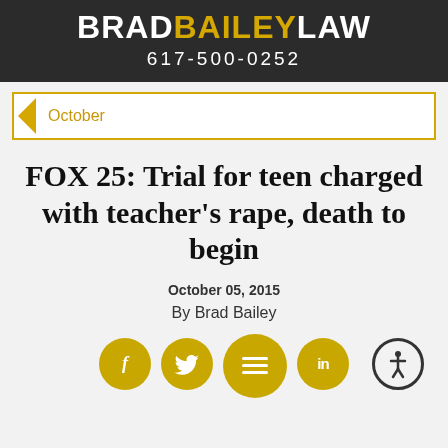BRAD BAILEY LAW 617-500-0252
October
FOX 25: Trial for teen charged with teacher's rape, death to begin
October 05, 2015
By Brad Bailey
[Figure (other): Social sharing icons row: Facebook (f), Twitter bird, hamburger menu, LinkedIn (in), and an accessibility icon on the right]